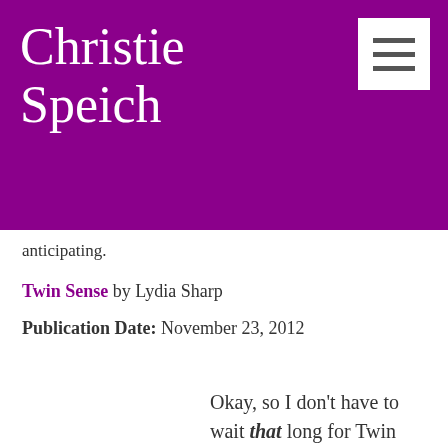Christie Speich
anticipating.
Twin Sense by Lydia Sharp
Publication Date: November 23, 2012
Okay, so I don't have to wait that long for Twin Sense, but I have been waiting for it since I first heard about it. The cover was just